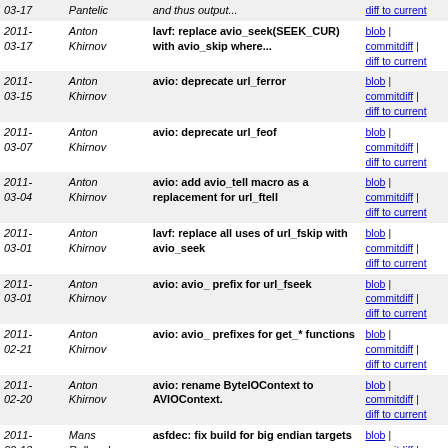| Date | Author | Description | Links |
| --- | --- | --- | --- |
| 2011-03-17 | Pantelic | and thus output... | blob | commitdiff | diff to current |
| 2011-03-17 | Anton Khirnov | lavf: replace avio_seek(SEEK_CUR) with avio_skip where... | blob | commitdiff | diff to current |
| 2011-03-15 | Anton Khirnov | avio: deprecate url_ferror | blob | commitdiff | diff to current |
| 2011-03-07 | Anton Khirnov | avio: deprecate url_feof | blob | commitdiff | diff to current |
| 2011-03-04 | Anton Khirnov | avio: add avio_tell macro as a replacement for url_ftell | blob | commitdiff | diff to current |
| 2011-03-01 | Anton Khirnov | lavf: replace all uses of url_fskip with avio_seek | blob | commitdiff | diff to current |
| 2011-03-01 | Anton Khirnov | avio: avio_ prefix for url_fseek | blob | commitdiff | diff to current |
| 2011-02-21 | Anton Khirnov | avio: avio_ prefixes for get_* functions | blob | commitdiff | diff to current |
| 2011-02-20 | Anton Khirnov | avio: rename ByteIOContext to AVIOContext. | blob | commitdiff | diff to current |
| 2011-02-13 | Mans Rullgard | asfdec: fix build for big endian targets | blob | commitdiff | diff to current |
| 2011-02-13 | Anton Khirnov | asfdec: don't export empty metadata | blob | commitdiff | diff to current |
| 2011-02-13 | Anton Khirnov | asfdec: split reading stream properties out of asf_read... | blob | commitdiff | diff to current |
| 2011-02-10 | Anton Khirnov | asfdec: deobfuscate reading video properties size | blob | commitdiff | diff to current |
| 2011- | Anton | asfdec: split asf_read_header() | blob | commitdiff | diff to current |